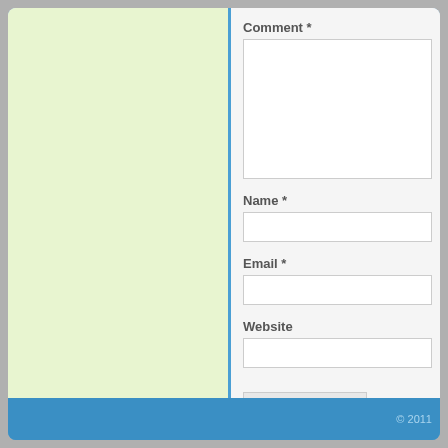[Figure (screenshot): Left panel with light green background, part of a webpage layout]
Comment *
Name *
Email *
Website
Post Comment
© 2011